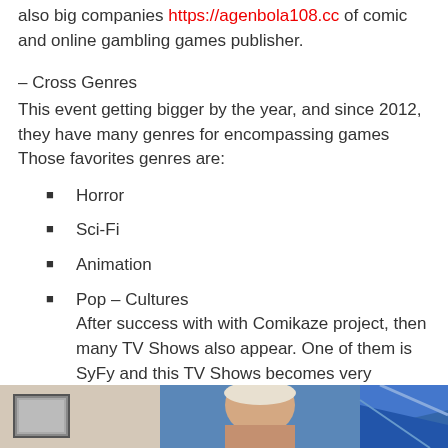also big companies https://agenbola108.cc of comic and online gambling games publisher.
– Cross Genres
This event getting bigger by the year, and since 2012, they have many genres for encompassing games Those favorites genres are:
Horror
Sci-Fi
Animation
Pop – Cultures
After success with with Comikaze project, then many TV Shows also appear. One of them is SyFy and this TV Shows becomes very popular because some pop culture fans could live together in the apartment in Los Angeles.
[Figure (photo): Bottom strip showing a person and colorful background, partial view of an image]